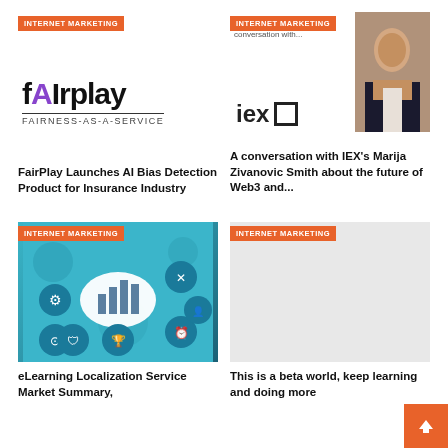[Figure (logo): FairPlay logo with tagline FAIRNESS-AS-A-SERVICE, topped by INTERNET MARKETING badge]
[Figure (photo): IEX logo with a woman in a dark blazer, topped by INTERNET MARKETING badge and partial text 'conversation with...']
FairPlay Launches AI Bias Detection Product for Insurance Industry
A conversation with IEX's Marija Zivanovic Smith about the future of Web3 and...
[Figure (illustration): eLearning localization infographic on teal background with cloud and icons, topped by INTERNET MARKETING badge]
[Figure (photo): Blank light gray image placeholder, topped by INTERNET MARKETING badge]
eLearning Localization Service Market Summary,
This is a beta world, keep learning and doing more